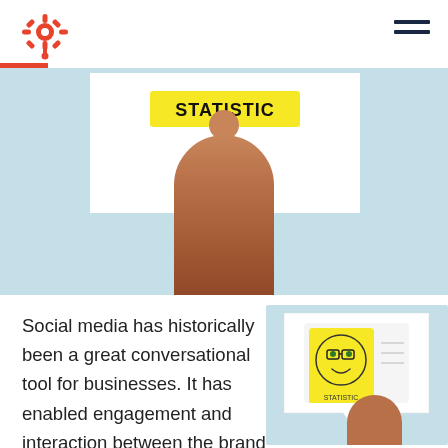HubSpot navigation header
[Figure (photo): A hand holding up a white card with a yellow 'STATISTIC' label against a light blue background. The image is cropped showing the hand from below center.]
Social media has historically been a great conversational tool for businesses. It has enabled engagement and interaction between the brand and the consumer -- but as marketers, we crave more. We want to impact the bottom line, enable our sales team to be successful,
[Figure (photo): A hand holding a small square card with a smiley face illustration wearing sunglasses and a yellow background label, set against a light blue background with a speech bubble shape.]